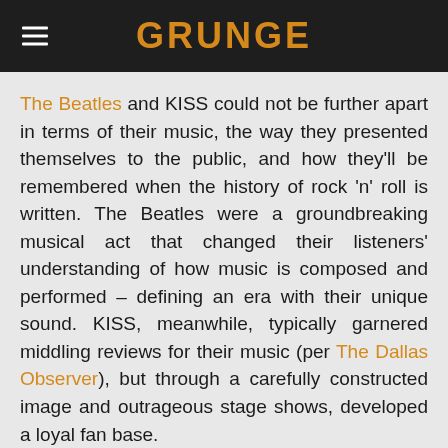GRUNGE
The Beatles and KISS could not be further apart in terms of their music, the way they presented themselves to the public, and how they'll be remembered when the history of rock 'n' roll is written. The Beatles were a groundbreaking musical act that changed their listeners' understanding of how music is composed and performed – defining an era with their unique sound. KISS, meanwhile, typically garnered middling reviews for their music (per The Dallas Observer), but through a carefully constructed image and outrageous stage shows, developed a loyal fan base.